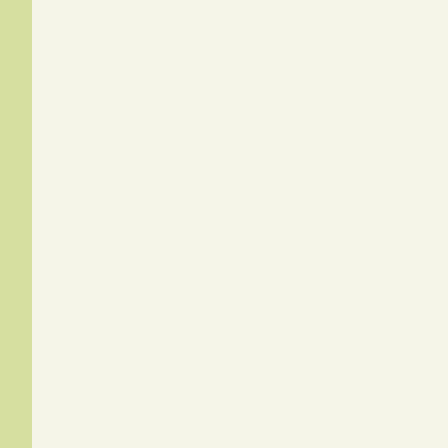Cota, M. & Somme... macromaculatus (... salvator Complex ...
Cota, M.; Chan-ar... salvator macromac...
COTA, MICHAEL ... Retirement of Vara...
Cox, Merel J.; Van... to Snakes and Oth... pp.
CURRIN, Charles ... 117-120 - get paper
Cuvier, G. 1831. T... additional descripti... and others. Vol. 9.
Cuvier, G. J. L. N. ... l'Histoire naturelle ... 2. Les Reptiles. De...
Das , I. 2004. Liza...
Das, Indraneil 198... Bombay Nat. Hist.
Das, Indraneil & Al... Pakistan and Sri L...
Davis, Hayden R.;... Anuar, M. A. Muin,... Gunung Senyum, ...